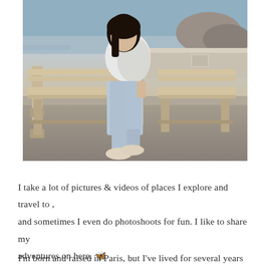[Figure (photo): A young woman with dark hair sitting on a wooden bench near a waterfront/harbor area. She is wearing a white top, light gray jeans, and beige sneakers. The background shows rocky coastal scenery and water.]
I take a lot of pictures & videos of places I explore and travel to , and sometimes I even do photoshoots for fun. I like to share my adventures on here. 🦋
I'm born and raised in Paris, but I've lived for several years in Los